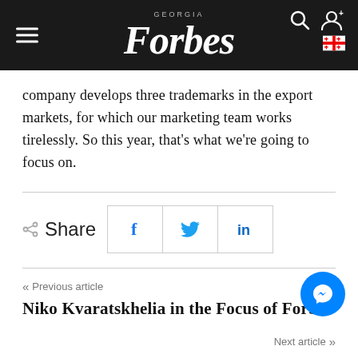Forbes Georgia
company develops three trademarks in the export markets, for which our marketing team works tirelessly. So this year, that’s what we’re going to focus on.
Share (Facebook, Twitter, LinkedIn)
« Previous article
Niko Kvaratskhelia in the Focus of Forbes
Next article »